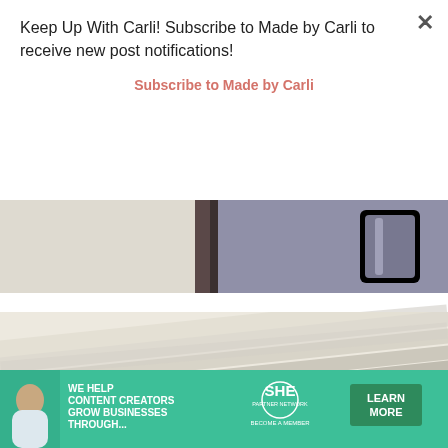Keep Up With Carli! Subscribe to Made by Carli to receive new post notifications!
Subscribe to Made by Carli
[Figure (photo): Close-up photo of drawer fronts and a phone/device, beige and dark tones]
[Figure (photo): Close-up of layered paper or drawer fronts, cream/beige diagonal lines]
We use cookies to optimize our website and our service.
ACCEPT
[Figure (infographic): SHE Partner Network advertisement banner: We Help Content Creators Grow Businesses Through... with Learn More button]